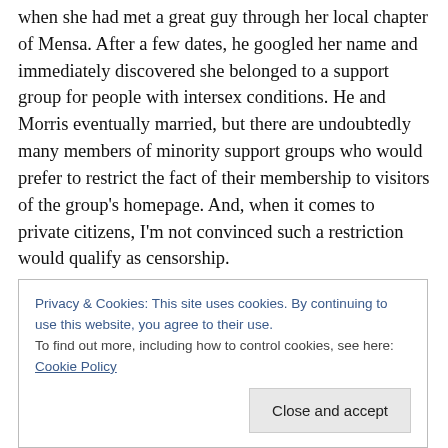when she had met a great guy through her local chapter of Mensa. After a few dates, he googled her name and immediately discovered she belonged to a support group for people with intersex conditions. He and Morris eventually married, but there are undoubtedly many members of minority support groups who would prefer to restrict the fact of their membership to visitors of the group's homepage. And, when it comes to private citizens, I'm not convinced such a restriction would qualify as censorship.

To compartmentalize, to reveal certain information about
Privacy & Cookies: This site uses cookies. By continuing to use this website, you agree to their use.
To find out more, including how to control cookies, see here: Cookie Policy